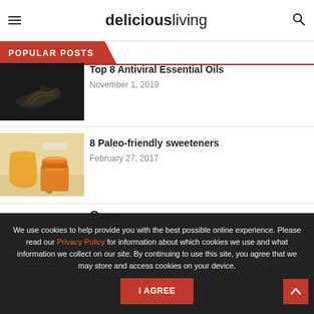deliciousliving
POPULAR POSTS
[Figure (photo): Hands holding a small bottle of essential oil in dark background]
Top 8 Antiviral Essential Oils
November 1, 2019
[Figure (photo): A glass of honey and honey jar on a white background]
8 Paleo-friendly sweeteners
February 27, 2017
We use cookies to help provide you with the best possible online experience. Please read our Privacy Policy for information about which cookies we use and what information we collect on our site. By continuing to use this site, you agree that we may store and access cookies on your device.
I AGREE